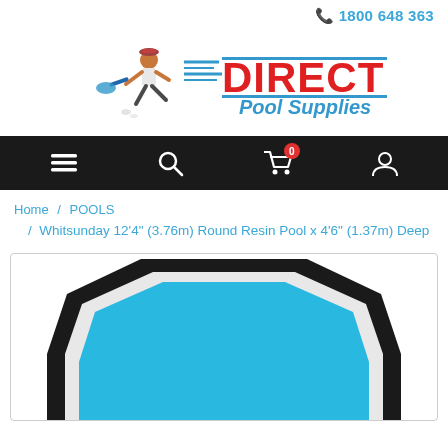1800 648 363
[Figure (logo): Direct Pool Supplies logo with running man carrying pool equipment and red DIRECT text with blue Pool Supplies subtitle]
[Figure (screenshot): Black navigation bar with hamburger menu, search, shopping cart with 0 badge, and user account icons]
Home / POOLS / Whitsunday 12'4" (3.76m) Round Resin Pool x 4'6" (1.37m) Deep
[Figure (illustration): Top-down illustration of a round/octagonal resin pool with blue interior, black border and white highlight ring, partially visible]